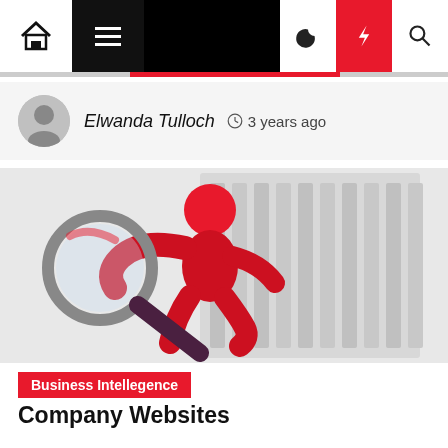Navigation bar with home, menu, dark mode, lightning, and search icons
Elwanda Tulloch  3 years ago
[Figure (illustration): 3D red figure holding a magnifying glass, examining something, with white filing cabinet or shelves in background]
Business Intellegence
Company Websites